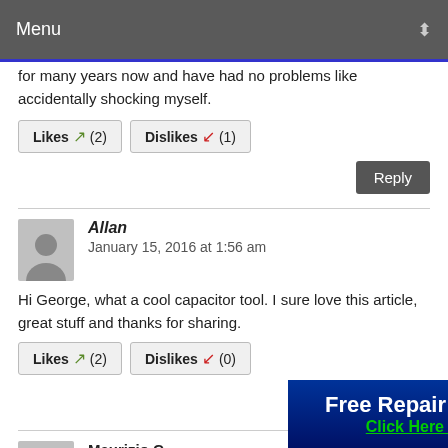Menu
for many years now and have had no problems like accidentally shocking myself.
Likes (2)   Dislikes (1)
Reply
Allan
January 15, 2016 at 1:56 am
Hi George, what a cool capacitor tool. I sure love this article, great stuff and thanks for sharing.
Likes (2)   Dislikes (0)
Reply
Maurizio C.
[Figure (infographic): Ad banner: Free Repair Report - Click Here Now]
Thanks!